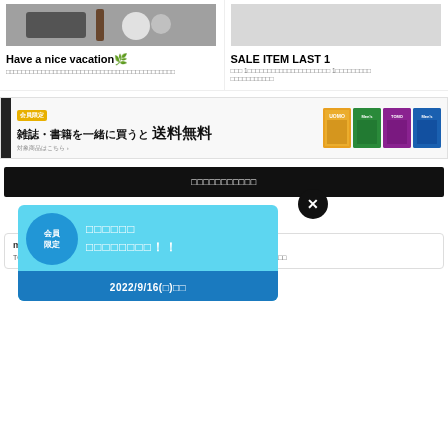[Figure (photo): Photo of dark-colored objects (wallet/brush/accessories) on a light surface]
Have a nice vacation🌿
□□□□□□□□□□□□□□□□□□□□□□□□□□□□□□□□□□□□□□□□□□□
[Figure (photo): Light gray/white placeholder area for right column image]
SALE ITEM LAST 1
□□□ 1□□□□□□□□□□□□□□□□□□□□□ 1□□□□□□□□□□□□□□□□□□□□□□□□□□□
[Figure (infographic): Banner ad: 会員限定 雑誌・書籍を一緒に買うと 送料無料 対象商品はこちら with magazine cover thumbnails]
□□□□□□□□□□□
mira□□□□
TOGA□□□□□□□□□□□□□□□□□□□□□□□□□□□□□□□□□□□□□□□
[Figure (infographic): Popup overlay with circle showing 会員 限定, text lines in white on cyan background, and date bar showing 2022/9/16(金)□□]